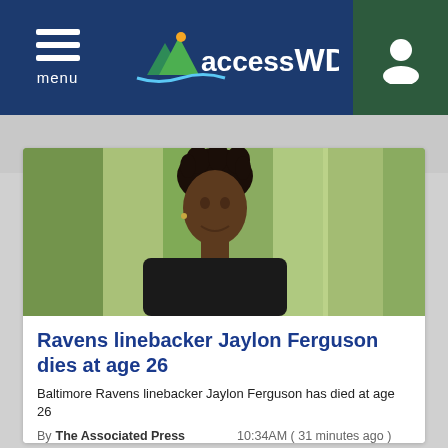accessWDUN — menu / account nav
[Figure (photo): Portrait photo of Baltimore Ravens linebacker Jaylon Ferguson, a young Black man with dreadlocks, wearing a dark shirt, photographed outdoors in front of a green/white background.]
Ravens linebacker Jaylon Ferguson dies at age 26
Baltimore Ravens linebacker Jaylon Ferguson has died at age 26
By The Associated Press   10:34AM ( 31 minutes ago )